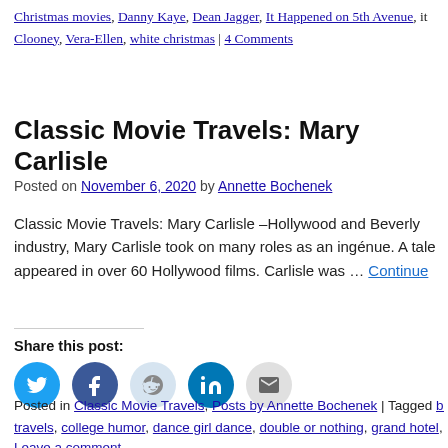Christmas movies, Danny Kaye, Dean Jagger, It Happened on 5th Avenue, it Clooney, Vera-Ellen, white christmas | 4 Comments
Classic Movie Travels: Mary Carlisle
Posted on November 6, 2020 by Annette Bochenek
Classic Movie Travels: Mary Carlisle –Hollywood and Beverly industry, Mary Carlisle took on many roles as an ingénue. A tale appeared in over 60 Hollywood films. Carlisle was … Continue
Share this post:
[Figure (infographic): Social share buttons: Twitter (blue circle), Facebook (dark blue circle), Reddit (light blue circle), LinkedIn (teal circle), Email (gray circle)]
Posted in Classic Movie Travels, Posts by Annette Bochenek | Tagged bing c travels, college humor, dance girl dance, double or nothing, grand hotel, mad
Leave a comment